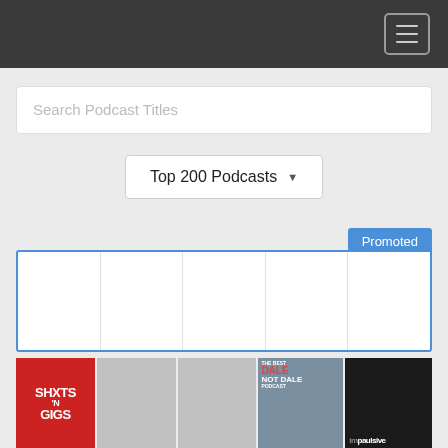Search Podcast Titles
Top 200 Podcasts
Promoted
[Figure (screenshot): Promoted row with 5 empty white cells outlined in blue]
[Figure (screenshot): Podcast artwork grid row 1: SHXTS N GIGS (red), grey cell, grey cell, Dale Not Dale, Impaulsive]
[Figure (screenshot): Podcast artwork grid row 2 (partial): grey cell, Office Ladies, BBC Pressed, grey cell, grey cell]